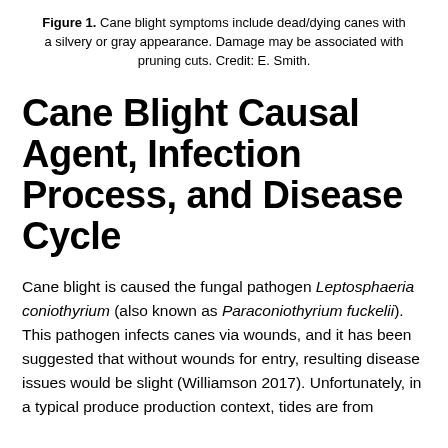Figure 1. Cane blight symptoms include dead/dying canes with a silvery or gray appearance. Damage may be associated with pruning cuts. Credit: E. Smith.
Cane Blight Causal Agent, Infection Process, and Disease Cycle
Cane blight is caused the fungal pathogen Leptosphaeria coniothyrium (also known as Paraconiothyrium fuckelii). This pathogen infects canes via wounds, and it has been suggested that without wounds for entry, resulting disease issues would be slight (Williamson 2017). Unfortunately, in a typical produce production context, tides are from